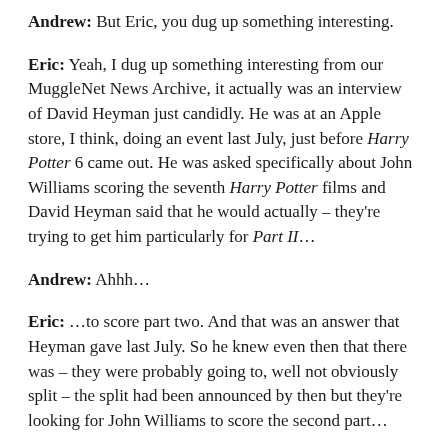Andrew: But Eric, you dug up something interesting.
Eric: Yeah, I dug up something interesting from our MuggleNet News Archive, it actually was an interview of David Heyman just candidly. He was at an Apple store, I think, doing an event last July, just before Harry Potter 6 came out. He was asked specifically about John Williams scoring the seventh Harry Potter films and David Heyman said that he would actually – they're trying to get him particularly for Part II…
Andrew: Ahhh…
Eric: …to score part two. And that was an answer that Heyman gave last July. So he knew even then that there was – they were probably going to, well not obviously split – the split had been announced by then but they're looking for John Williams to score the second part…